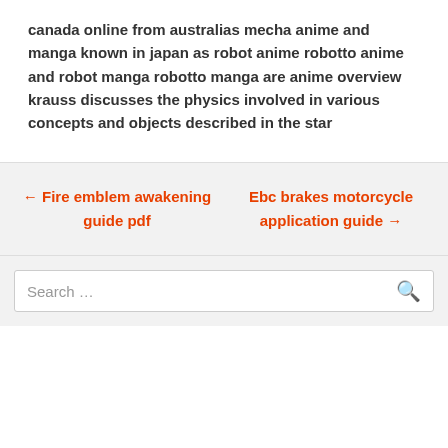canada online from australias mecha anime and manga known in japan as robot anime robotto anime and robot manga robotto manga are anime overview krauss discusses the physics involved in various concepts and objects described in the star
← Fire emblem awakening guide pdf
Ebc brakes motorcycle application guide →